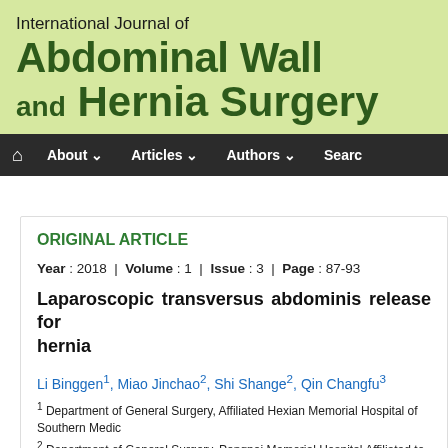International Journal of Abdominal Wall and Hernia Surgery
ORIGINAL ARTICLE
Year : 2018  |  Volume : 1  |  Issue : 3  |  Page : 87-93
Laparoscopic transversus abdominis release for hernia
Li Binggen1, Miao Jinchao2, Shi Shange2, Qin Changfu3
1 Department of General Surgery, Affiliated Hexian Memorial Hospital of Southern Medic...
2 Department of General Surgery, Pengpai Memorial Hospital Affiliated to Guangdong Me...
3 Department of Hernia and Abdominal Surgery, Beijing Chao-Yang Hospital, Capital Me...